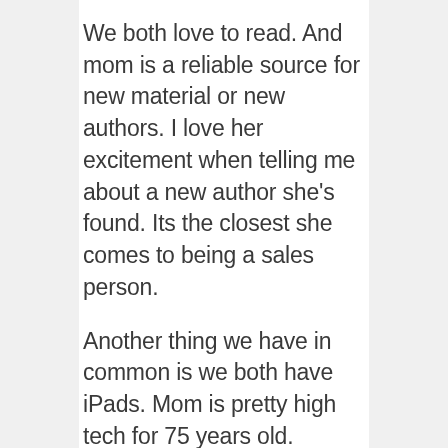We both love to read. And mom is a reliable source for new material or new authors. I love her excitement when telling me about a new author she's found. Its the closest she comes to being a sales person.
Another thing we have in common is we both have iPads. Mom is pretty high tech for 75 years old. Maybe all 75 year olds are jamming along on their Kindles or iPads.
But when I visit, mom always ends up passing me Analog books. The ones that use actual